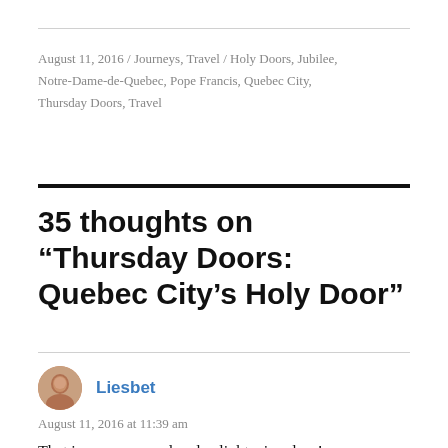August 11, 2016 / Journeys, Travel / Holy Doors, Jubilee, Notre-Dame-de-Quebec, Pope Francis, Quebec City, Thursday Doors, Travel
35 thoughts on “Thursday Doors: Quebec City’s Holy Door”
Liesbet
August 11, 2016 at 11:39 am
That is one very cool and enlightening door!